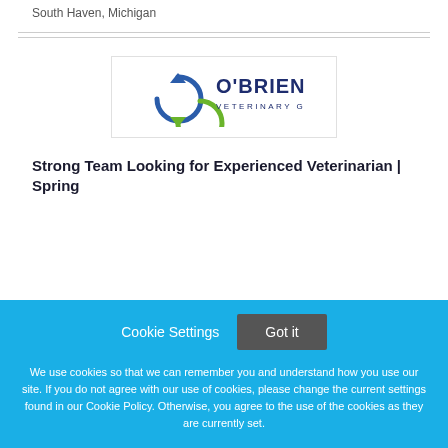South Haven, Michigan
[Figure (logo): O'Brien Veterinary Group logo with circular arrow icon in blue and green]
Strong Team Looking for Experienced Veterinarian | Spring
Cookie Settings   Got it
We use cookies so that we can remember you and understand how you use our site. If you do not agree with our use of cookies, please change the current settings found in our Cookie Policy. Otherwise, you agree to the use of the cookies as they are currently set.